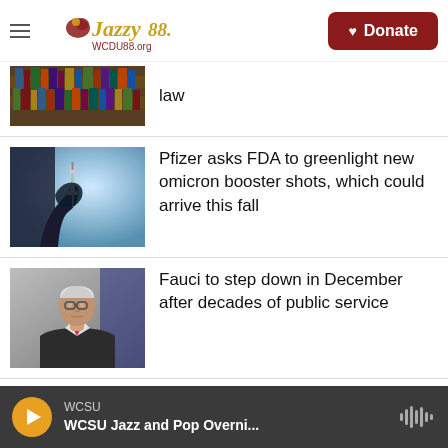Jazzy 88.9 | Donate
[Figure (screenshot): Thumbnail of library bookshelves]
law
[Figure (photo): Silhouette of hand holding syringe against blue light]
Pfizer asks FDA to greenlight new omicron booster shots, which could arrive this fall
[Figure (photo): Anthony Fauci in suit and tie]
Fauci to step down in December after decades of public service
[Figure (photo): Partial thumbnail of next article]
WCSU — WCSU Jazz and Pop Overni...